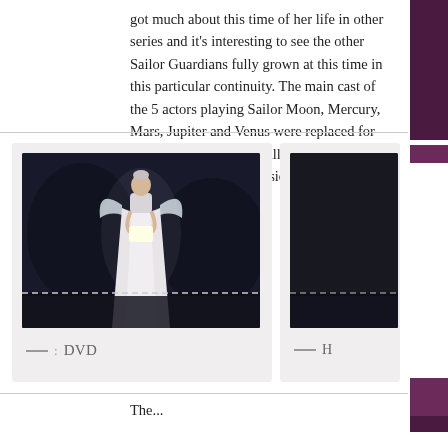got much about this time of her life in other series and it's interesting to see the other Sailor Guardians fully grown at this time in this particular continuity. The main cast of the 5 actors playing Sailor Moon, Mercury, Mars, Jupiter and Venus were replaced for this musical. They will all be returning for this Fall's upcoming musical.
[Figure (photo): A performer in a white fairy-like gown with wings on a dark theatrical stage, illuminated from above, holding something in front of them. A dashed line runs across the lower portion of the image.]
— : DVD
The...